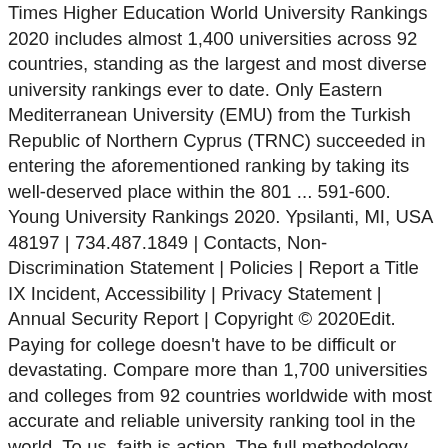Times Higher Education World University Rankings 2020 includes almost 1,400 universities across 92 countries, standing as the largest and most diverse university rankings ever to date. Only Eastern Mediterranean University (EMU) from the Turkish Republic of Northern Cyprus (TRNC) succeeded in entering the aforementioned ranking by taking its well-deserved place within the 801 ... 591-600. Young University Rankings 2020. Ypsilanti, MI, USA 48197 | 734.487.1849 | Contacts, Non-Discrimination Statement | Policies | Report a Title IX Incident, Accessibility | Privacy Statement | Annual Security Report | Copyright © 2020Edit. Paying for college doesn't have to be difficult or devastating. Compare more than 1,700 universities and colleges from 92 countries worldwide with most accurate and reliable university ranking tool in the world. To us, faith is action. The full methodology can be viewed here . The application deadline is rolling and the application Manage your school's public image and connection with students using U.S. News Student Connect. with a gender distribution of 40% male students EMU students can join